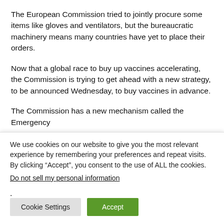The European Commission tried to jointly procure some items like gloves and ventilators, but the bureaucratic machinery means many countries have yet to place their orders.
Now that a global race to buy up vaccines accelerating, the Commission is trying to get ahead with a new strategy, to be announced Wednesday, to buy vaccines in advance.
The Commission has a new mechanism called the Emergency
We use cookies on our website to give you the most relevant experience by remembering your preferences and repeat visits. By clicking “Accept”, you consent to the use of ALL the cookies.
Do not sell my personal information.